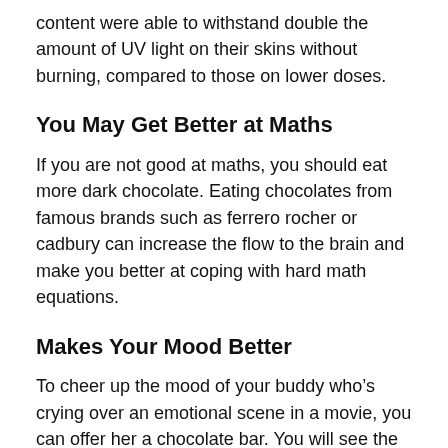content were able to withstand double the amount of UV light on their skins without burning, compared to those on lower doses.
You May Get Better at Maths
If you are not good at maths, you should eat more dark chocolate. Eating chocolates from famous brands such as ferrero rocher or cadbury can increase the flow to the brain and make you better at coping with hard math equations.
Makes Your Mood Better
To cheer up the mood of your buddy who’s crying over an emotional scene in a movie, you can offer her a chocolate bar. You will see the moment she eats a Cadbury Dairy Milk or Ferrero Rocher and it